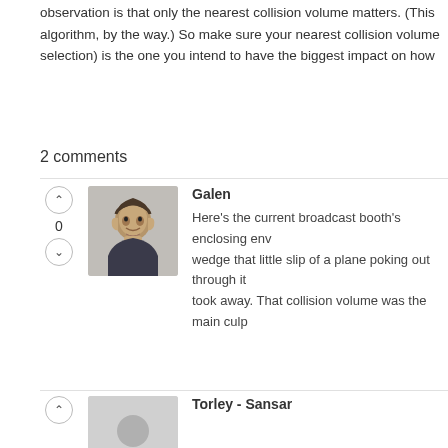observation is that only the nearest collision volume matters. (This algorithm, by the way.) So make sure your nearest collision volume selection) is the one you intend to have the biggest impact on how
2 comments
Galen
Here's the current broadcast booth's enclosing env wedge that little slip of a plane poking out through it took away. That collision volume was the main culp
Torley - Sansar